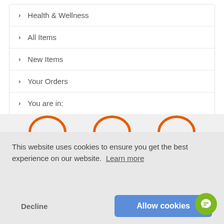Health & Wellness
All Items
New Items
Your Orders
You are in:
Denture Adhesives
This website uses cookies to ensure you get the best experience on our website. Learn more
Decline
Allow cookies